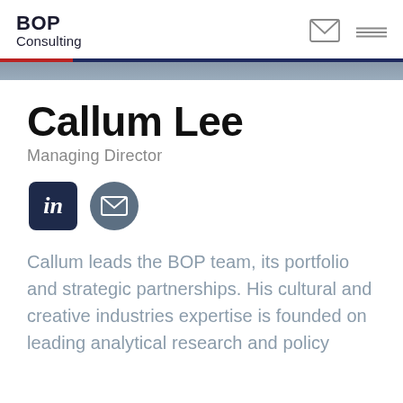BOP Consulting
Callum Lee
Managing Director
[Figure (illustration): LinkedIn and email social media icons]
Callum leads the BOP team, its portfolio and strategic partnerships. His cultural and creative industries expertise is founded on leading analytical research and policy